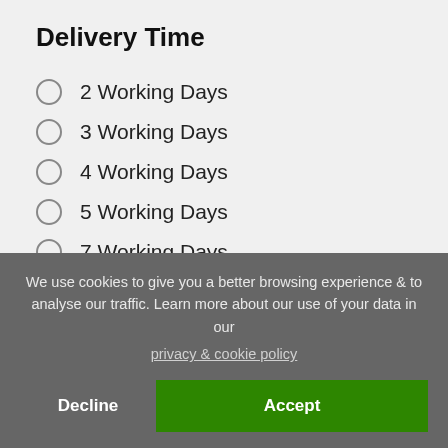Delivery Time
2 Working Days
3 Working Days
4 Working Days
5 Working Days
7 Working Days
We use cookies to give you a better browsing experience & to analyse our traffic. Learn more about our use of your data in our privacy & cookie policy
Decline
Accept